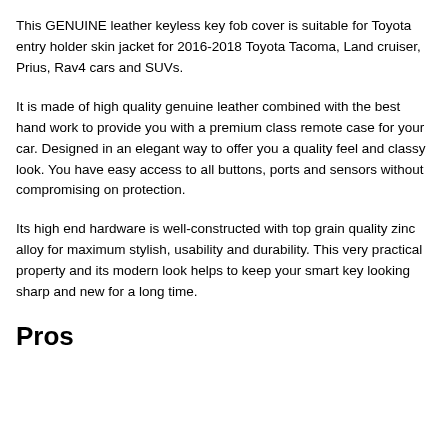This GENUINE leather keyless key fob cover is suitable for Toyota entry holder skin jacket for 2016-2018 Toyota Tacoma, Land cruiser, Prius, Rav4 cars and SUVs.
It is made of high quality genuine leather combined with the best hand work to provide you with a premium class remote case for your car. Designed in an elegant way to offer you a quality feel and classy look. You have easy access to all buttons, ports and sensors without compromising on protection.
Its high end hardware is well-constructed with top grain quality zinc alloy for maximum stylish, usability and durability. This very practical property and its modern look helps to keep your smart key looking sharp and new for a long time.
Pros